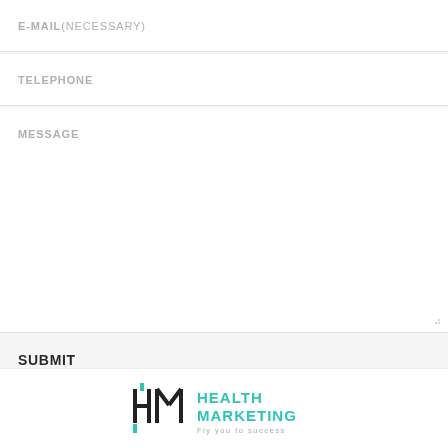E-MAIL(necessary)
TELEPHONE
MESSAGE
SUBMIT
[Figure (logo): Health Marketing logo with teal HM monogram and text 'HEALTH MARKETING Fly you to success']